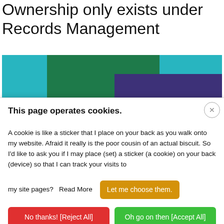Ownership only exists under Records Management
[Figure (other): Partial bar chart showing teal/cyan, green, and dark purple/indigo colored bars arranged horizontally]
This page operates cookies.
A cookie is like a sticker that I place on your back as you walk onto my website. Afraid it really is the poor cousin of an actual biscuit. So I'd like to ask you if I may place (set) a sticker (a cookie) on your back (device) so that I can track your visits to my site pages?   Read More
Let me choose them.
No thanks! [Reject All]
Oh go on then [Accept All]